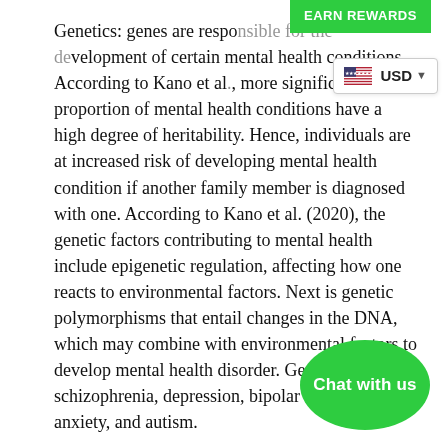Genetics: genes are responsible for the development of certain mental health conditions. According to Kano et al., more significant proportion of mental health conditions have a high degree of heritability. Hence, individuals are at increased risk of developing mental health condition if another family member is diagnosed with one. According to Kano et al. (2020), the genetic factors contributing to mental health include epigenetic regulation, affecting how one reacts to environmental factors. Next is genetic polymorphisms that entail changes in the DNA, which may combine with environmental factors to develop mental health disorder. Genetic is liked to schizophrenia, depression, bipolar disorder, anxiety, and autism.
Secondly, substance abuse, including alcohol and drug addiction, is linked to mental health conditions. According to Pichini and Busardo (2017), long-terms substance abuse is associated with depression, paranoia, and substance abuse can also escalate the underlying mental disorder. Mental health problems are often caused by genetics and the environment, among other factors. Hence,